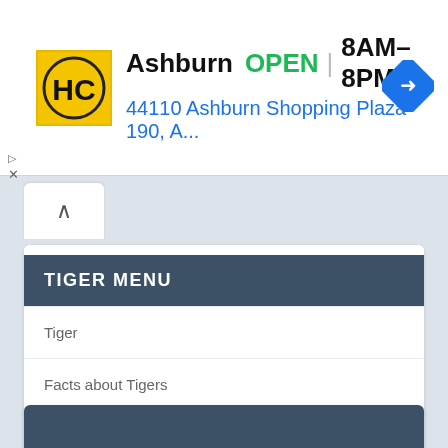[Figure (screenshot): Ad banner for Handcar (HC) in Ashburn showing OPEN status, hours 8AM-8PM, and address 44110 Ashburn Shopping Plaza 190, A...]
[Figure (screenshot): Collapse/expand button (caret up) for a UI panel]
TIGER MENU
Tiger
Facts about Tigers
Tiger Information
[Figure (screenshot): Partial dark header bar of a second menu section at the bottom of the page]